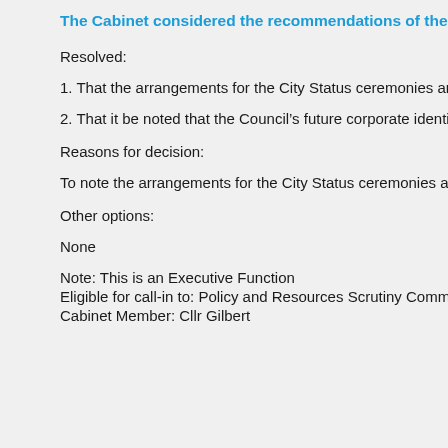The Cabinet considered the recommendations of the Eco
Resolved:
1. That the arrangements for the City Status ceremonies and
2. That it be noted that the Council’s future corporate identity a
Reasons for decision:
To note the arrangements for the City Status ceremonies and
Other options:
None
Note: This is an Executive Function
Eligible for call-in to: Policy and Resources Scrutiny Committe
Cabinet Member: Cllr Gilbert